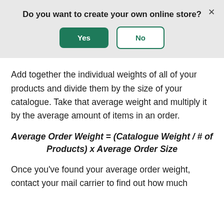Do you want to create your own online store?
Add together the individual weights of all of your products and divide them by the size of your catalogue. Take that average weight and multiply it by the average amount of items in an order.
Once you've found your average order weight, contact your mail carrier to find out how much